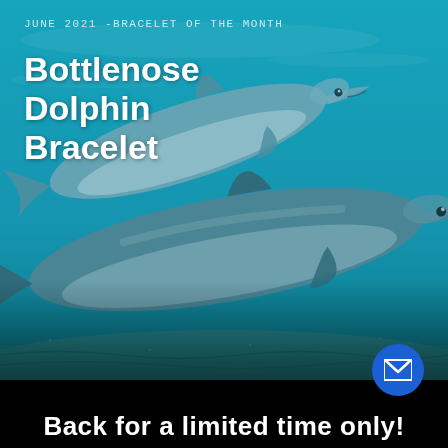JUNE 2021 -BRACELET OF THE MONTH
Bottlenose Dolphin Bracelet
[Figure (photo): Two bottlenose dolphins swimming underwater in teal/turquoise ocean water above sandy seafloor, photographed from the side]
Back for a limited time only!